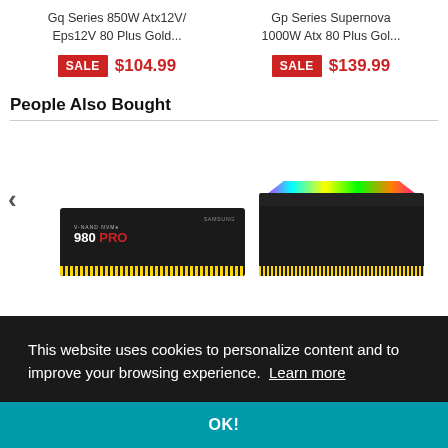Gq Series 850W Atx12V/ Eps12V 80 Plus Gold...
Gp Series Supernova 1000W Atx 80 Plus Gol...
SALE $104.99
SALE $139.99
People Also Bought
[Figure (photo): Carousel showing Samsung 980 PRO SSD and Corsair RGB RAM modules with left navigation chevron]
This website uses cookies to personalize content and to improve your browsing experience. Learn more
OK!